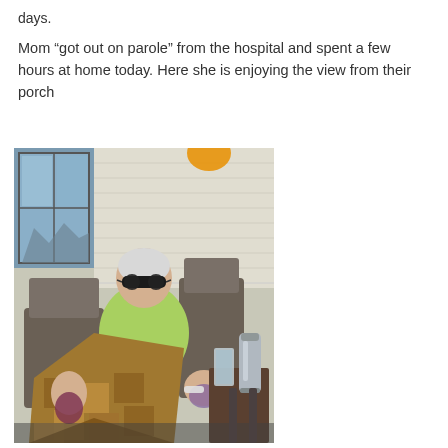days.

Mom “got out on parole” from the hospital and spent a few hours at home today. Here she is enjoying the view from their porch
[Figure (photo): An elderly woman with white hair and sunglasses sitting in a patio chair on a porch, covered with a patchwork quilt in browns and golds, holding a drink. A thermos and glass sit on a small table beside her. The porch is against a house with white vinyl siding and a window visible in the background.]